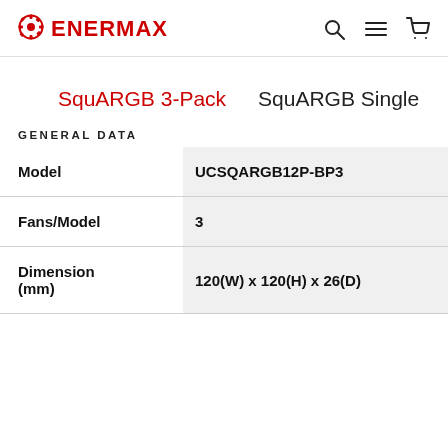ENERMAX
SquARGB 3-Pack    SquARGB Single
GENERAL DATA
|  |  |
| --- | --- |
| Model | UCSQARGB12P-BP3 |
| Fans/Model | 3 |
| Dimension (mm) | 120(W) x 120(H) x 26(D) |